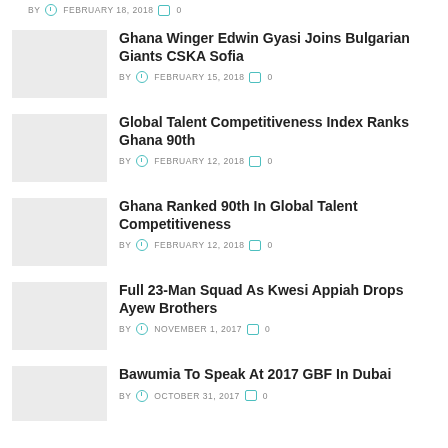BY  FEBRUARY 18, 2018  0
Ghana Winger Edwin Gyasi Joins Bulgarian Giants CSKA Sofia
BY  FEBRUARY 15, 2018  0
Global Talent Competitiveness Index Ranks Ghana 90th
BY  FEBRUARY 12, 2018  0
Ghana Ranked 90th In Global Talent Competitiveness
BY  FEBRUARY 12, 2018  0
Full 23-Man Squad As Kwesi Appiah Drops Ayew Brothers
BY  NOVEMBER 1, 2017  0
Bawumia To Speak At 2017 GBF In Dubai
BY  OCTOBER 31, 2017  0